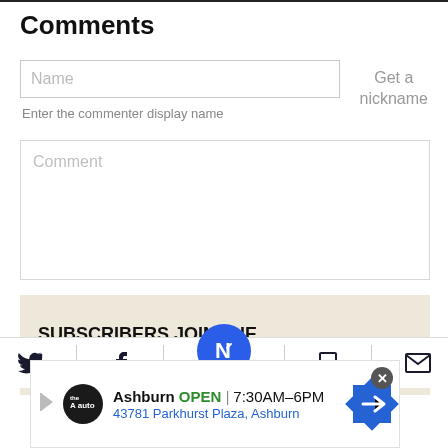Comments
Name
Get a nickname
Enter the commenter display name
Comment
SUBSCRIBERS JOIN THE CONVERSATION FASTER
[Figure (screenshot): Bottom navigation bar with Twitter bird icon, Facebook f icon, central blue circular button with N arrow icon, bookmark icon, and envelope icon]
[Figure (infographic): Advertisement banner: The Auto logo, Ashburn OPEN 7:30AM-6PM, 43781 Parkhurst Plaza Ashburn, blue navigation arrow icon, close button]